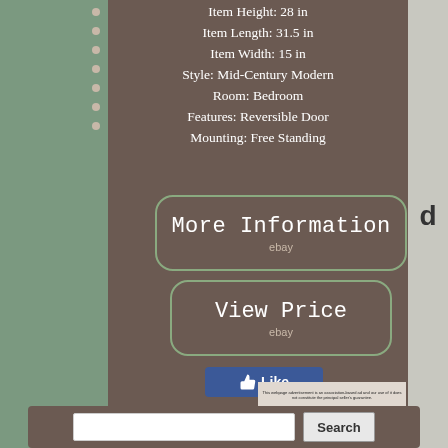Item Height: 28 in
Item Length: 31.5 in
Item Width: 15 in
Style: Mid-Century Modern
Room: Bedroom
Features: Reversible Door
Mounting: Free Standing
[Figure (screenshot): More Information button with ebay branding, rounded rectangle outline]
[Figure (screenshot): View Price button with ebay branding, rounded rectangle outline]
[Figure (screenshot): Facebook Like button]
[Figure (screenshot): Social share icons: Facebook, Twitter, Pinterest, Email]
[Figure (screenshot): Search bar at the bottom with Search button]